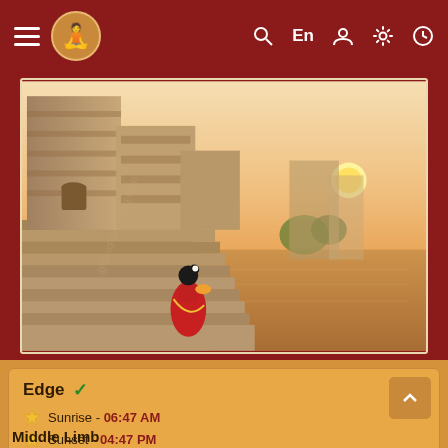≡ [logo] [search] En [user] [settings] [clock]
[Figure (illustration): Illustration of a woman in a red sari standing on the ghats (steps) of a river at sunset, with ornate temple-like buildings in the background. The scene depicts a devotee performing prayer/offering at the riverside. Watermark reads '@DrikPanchang.com'.]
Edge ✓
🔔 Sunrise - 06:47 AM
🔔 Sunset - 04:47 PM
* currently used and suggested by Drik Panchang
Middle Limb